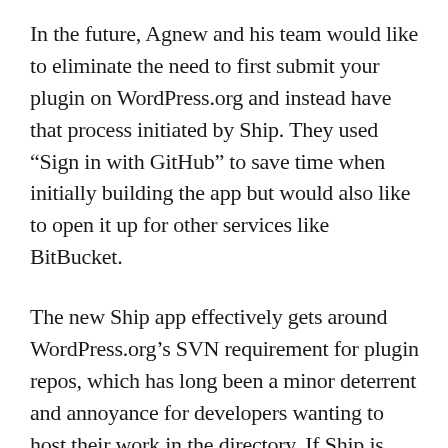In the future, Agnew and his team would like to eliminate the need to first submit your plugin on WordPress.org and instead have that process initiated by Ship. They used “Sign in with GitHub” to save time when initially building the app but would also like to open it up for other services like BitBucket.
The new Ship app effectively gets around WordPress.org’s SVN requirement for plugin repos, which has long been a minor deterrent and annoyance for developers wanting to host their work in the directory. If Ship is successful in making plugin developer’s lives easier, the result will be more open source extensions available to